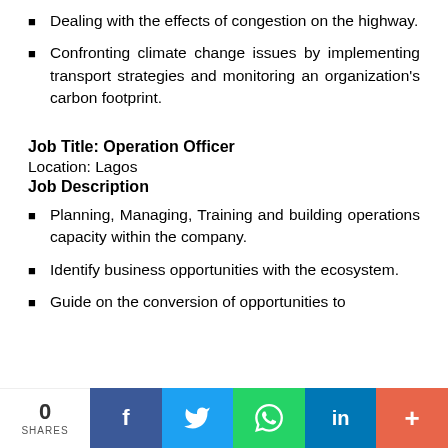Dealing with the effects of congestion on the highway.
Confronting climate change issues by implementing transport strategies and monitoring an organization's carbon footprint.
Job Title: Operation Officer
Location: Lagos
Job Description
Planning, Managing, Training and building operations capacity within the company.
Identify business opportunities with the ecosystem.
Guide on the conversion of opportunities to